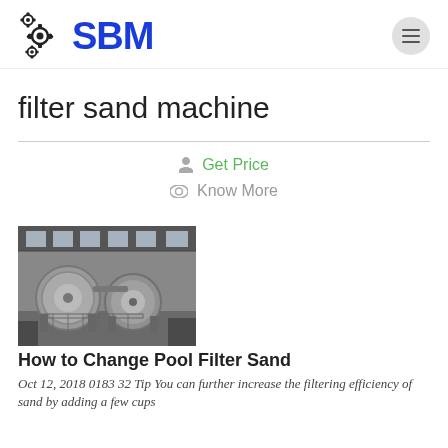SBM
filter sand machine
Get Price
Know More
[Figure (photo): Industrial machinery in a factory setting, showing large spherical/cylindrical mill equipment in black and white]
How to Change Pool Filter Sand
Oct 12, 2018 0183 32 Tip You can further increase the filtering efficiency of sand by adding a few cups